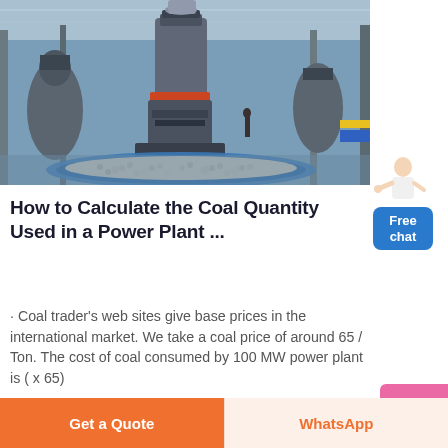[Figure (photo): Industrial coal processing facility interior with large milling/grinding machinery surrounded by a circular arrangement of small stones or pellets on a blue-bordered platform. Heavy machinery, steel structures and bright industrial lighting visible in background.]
How to Calculate the Coal Quantity Used in a Power Plant ...
· Coal trader's web sites give base prices in the international market. We take a coal price of around 65 / Ton. The cost of coal consumed by 100 MW power plant is ( x 65) $437/h or 100 MW it comes to around 100,000